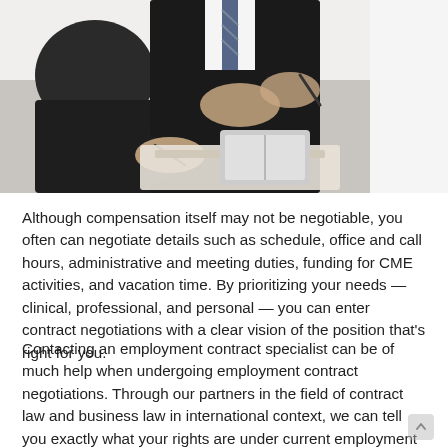[Figure (photo): Business meeting photo showing three people in suits at a table, with hands gesturing and pens visible, suggesting contract negotiation.]
Although compensation itself may not be negotiable, you often can negotiate details such as schedule, office and call hours, administrative and meeting duties, funding for CME activities, and vacation time. By prioritizing your needs — clinical, professional, and personal — you can enter contract negotiations with a clear vision of the position that's right for you.
Contacting an employment contract specialist can be of much help when undergoing employment contract negotiations. Through our partners in the field of contract law and business law in international context, we can tell you exactly what your rights are under current employment laws. Also, your lawyer can perform tasks like reviewing the contract, keeping you informed of